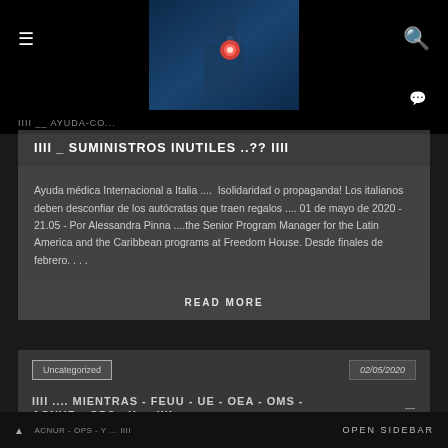[Figure (photo): Website header with hamburger menu icon on left, hero image of person touching glowing red button in center, search icon on right, dark background]
IIII _ SUMINISTROS INUTILES ..?? IIII
Ayuda médica Internacional a Italia ....  Isolidaridad o propaganda! Los italianos deben desconfiar de los autócratas que traen regalos .... 01 de mayo de 2020 - 21.05 - Por Alessandra Pinna ....the Senior Program Manager for the Latin America and the Caribbean programs at Freedom House. Desde finales de febrero. . . .
READ MORE
Uncategorized
02/05/2020
IIII .... MIENTRAS - FEUU - UE - OEA - OMS - ACNUR - OPS - Y ... IIII
OPEN SIDEBAR